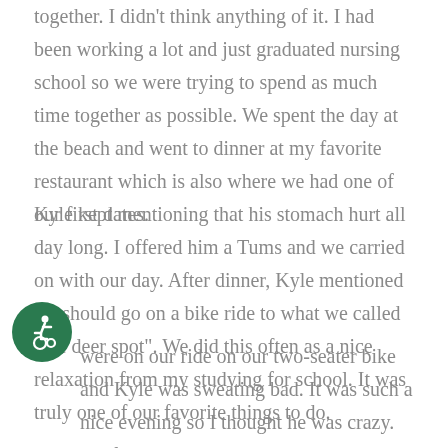together. I didn't think anything of it. I had been working a lot and just graduated nursing school so we were trying to spend as much time together as possible. We spent the day at the beach and went to dinner at my favorite restaurant which is also where we had one of our first dates.
Kyle kept mentioning that his stomach hurt all day long. I offered him a Tums and we carried on with our day. After dinner, Kyle mentioned we should go on a bike ride to what we called "the deer spot". We did this often as a nice relaxation from my studying for school. It was truly one of our favorite things to do.
[Figure (illustration): Green circular icon with a white wheelchair accessibility symbol (person on bicycle/accessibility icon)]
were on our ride on our two-seater bike and Kyle was sweating bad. It was such a nice evening so I thought he was crazy. We finally get to "the deer spot" and while I was looking through the